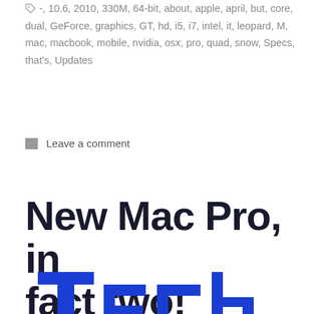-, 10.6, 2010, 330M, 64-bit, about, apple, april, but, core, dual, GeForce, graphics, GT, hd, i5, i7, intel, it, leopard, M, mac, macbook, mobile, nvidia, osx, pro, quad, snow, Specs, that's, Updates
Leave a comment
New Mac Pro, in fact two!
[Figure (logo): Tech Chew logo with blue and red stylized letters partially visible]